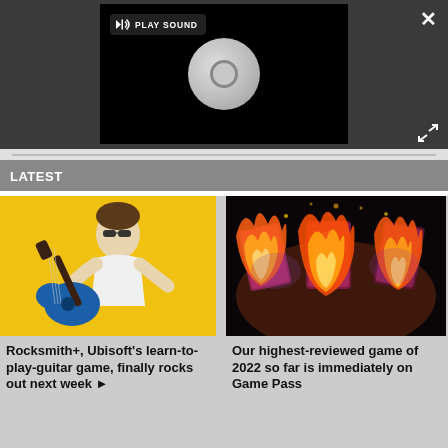[Figure (screenshot): Video player overlay with dark background showing a CD/disc loading spinner and a 'PLAY SOUND' button in top-left, close (X) button top-right, expand arrows bottom-right]
[Figure (screenshot): Section header bar labeled LATEST]
[Figure (screenshot): Article card: guitarist on yellow background]
Rocksmith+, Ubisoft's learn-to-play-guitar game, finally rocks out next week ▶
[Figure (screenshot): Article card: burning trading cards on black background]
Our highest-reviewed game of 2022 so far is immediately on Game Pass